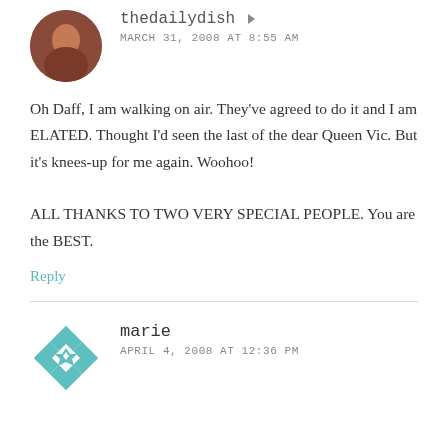[Figure (photo): Circular avatar photo of thedailydish user showing a person with reddish/warm tones]
thedailydish
MARCH 31, 2008 AT 8:55 AM
Oh Daff, I am walking on air. They've agreed to do it and I am ELATED. Thought I'd seen the last of the dear Queen Vic. But it's knees-up for me again. Woohoo!

ALL THANKS TO TWO VERY SPECIAL PEOPLE. You are the BEST.
Reply
[Figure (illustration): Square teal geometric/mandala pattern avatar for user marie]
marie
APRIL 4, 2008 AT 12:36 PM